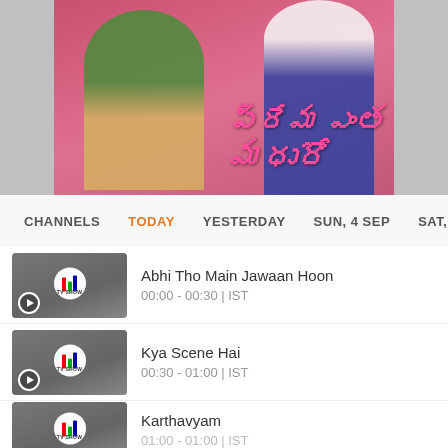[Figure (photo): Hero banner showing a couple (woman in green saree and man in blue suit) on a pink background with Telugu script title text overlay]
CHANNELS  TODAY  YESTERDAY  SUN, 4 SEP  SAT, 3 SEP
[Figure (photo): TV show thumbnail with TV SHOW badge and play button]
Abhi Tho Main Jawaan Hoon
00:00 - 00:30 | IST
[Figure (photo): TV show thumbnail with TV SHOW badge and play button]
Kya Scene Hai
00:30 - 01:00 | IST
[Figure (photo): TV show thumbnail with TV SHOW badge (partially visible)]
Karthavyam
01:00 - 01:00 | IST